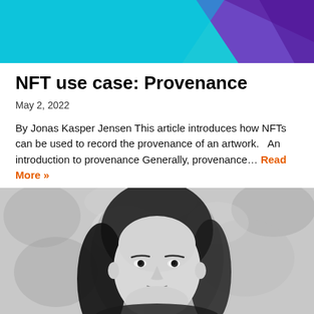[Figure (illustration): Abstract banner image with cyan/teal background and purple/violet geometric shapes in the top right corner]
NFT use case: Provenance
May 2, 2022
By Jonas Kasper Jensen This article introduces how NFTs can be used to record the provenance of an artwork.   An introduction to provenance Generally, provenance… Read More »
[Figure (photo): Black and white portrait photograph of a woman with dark hair looking directly at the camera, outdoor background with blurred foliage/stone wall]